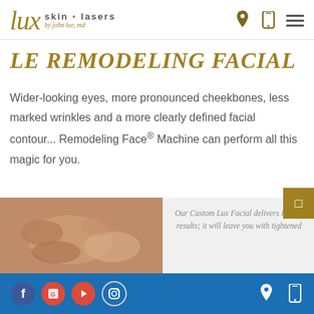Lux skin lasers by john lee, md
LE REMODELING FACIAL
Wider-looking eyes, more pronounced cheekbones, less marked wrinkles and a more clearly defined facial contour... Remodeling Face® Machine can perform all this magic for you.
[Figure (photo): Hands performing facial treatment on the left; text panel on the right reading 'Our Custom Lux Facial delivers instant results; it will leave you with tightened']
Social media icons (Facebook, Google+, YouTube, Instagram) and navigation icons (location pin, phone)